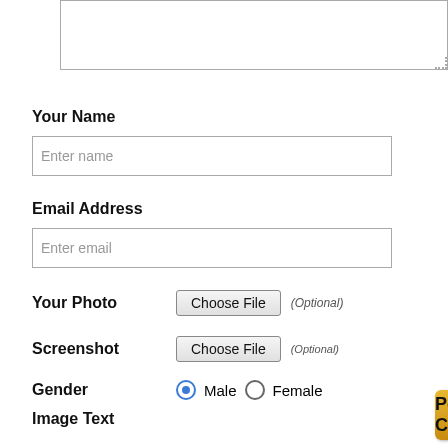[Figure (screenshot): Textarea with dotted resize handle showing partial top]
3000
Your Name
[Figure (screenshot): Text input field with placeholder 'Enter name']
Email Address
[Figure (screenshot): Text input field with placeholder 'Enter email']
Your Photo   Choose File  (Optional)
Screenshot   Choose File  (Optional)
Gender   Male  Female
Image Text   [CAPTCHA]  [input]
[Figure (screenshot): Golden 'Post Your Complaint' button with pencil icon]